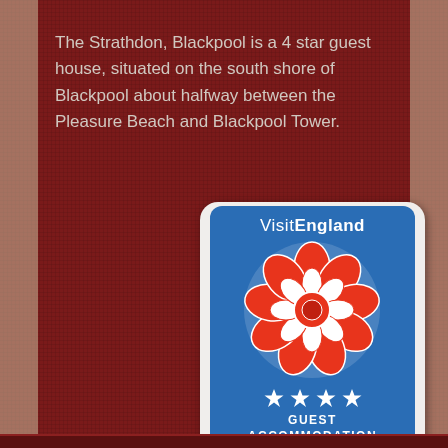The Strathdon, Blackpool is a 4 star guest house, situated on the south shore of Blackpool about halfway between the Pleasure Beach and Blackpool Tower.
[Figure (logo): VisitEngland 4-star Guest Accommodation badge with Tudor rose emblem and four white stars on blue background]